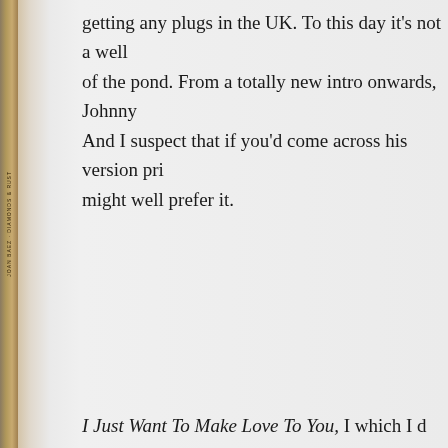getting any plugs in the UK. To this day it's not a well of the pond. From a totally new intro onwards, Johnny And I suspect that if you'd come across his version pri might well prefer it.
I Just Want To Make Love To You, I which I d